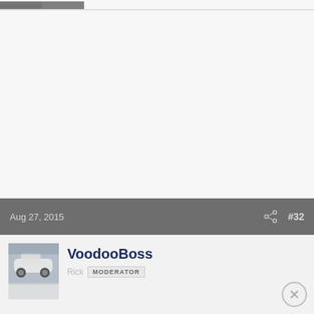[Figure (photo): Partial top strip showing a car on a racetrack, cropped at the top of the page]
Aug 27, 2015
#32
[Figure (photo): User avatar showing a white Porsche 911 on a racetrack with a reflection effect below]
VoodooBoss
Rick MODERATOR